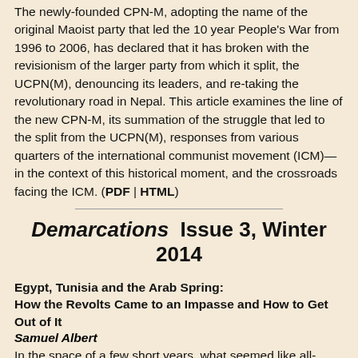The newly-founded CPN-M, adopting the name of the original Maoist party that led the 10 year People's War from 1996 to 2006, has declared that it has broken with the revisionism of the larger party from which it split, the UCPN(M), denouncing its leaders, and re-taking the revolutionary road in Nepal. This article examines the line of the new CPN-M, its summation of the struggle that led to the split from the UCPN(M), responses from various quarters of the international communist movement (ICM)—in the context of this historical moment, and the crossroads facing the ICM. (PDF | HTML)
Demarcations  Issue 3, Winter 2014
Egypt, Tunisia and the Arab Spring: How the Revolts Came to an Impasse and How to Get Out of It
Samuel Albert
In the space of a few short years, what seemed like all-powerful regimes have collapsed, uprisings and revolutionary hope have surged again and again, often only to tumble into deeper, paralyzing despair. A